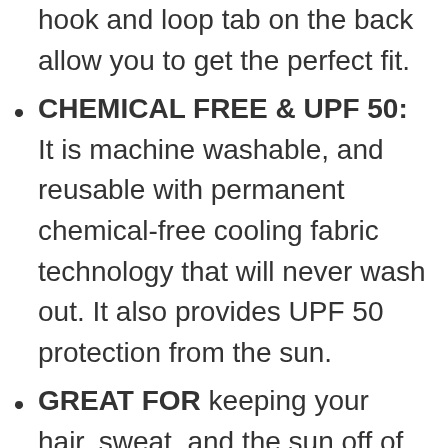hook and loop tab on the back allow you to get the perfect fit.
CHEMICAL FREE & UPF 50: It is machine washable, and reusable with permanent chemical-free cooling fabric technology that will never wash out. It also provides UPF 50 protection from the sun.
GREAT FOR keeping your hair, sweat, and the sun off of your face during Running, Jogging, Sports, Working Outside, Gardening, Baseball, Concerts, Vacation, the Beach, Lake, Pool, or anytime you